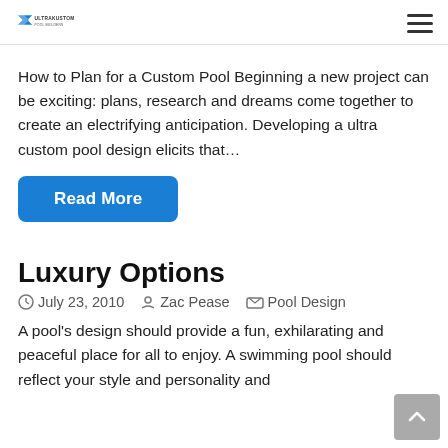UltraKustom logo and navigation menu
How to Plan for a Custom Pool Beginning a new project can be exciting: plans, research and dreams come together to create an electrifying anticipation. Developing a ultra custom pool design elicits that…
Read More
Luxury Options
July 23, 2010   Zac Pease   Pool Design
A pool's design should provide a fun, exhilarating and peaceful place for all to enjoy. A swimming pool should reflect your style and personality and